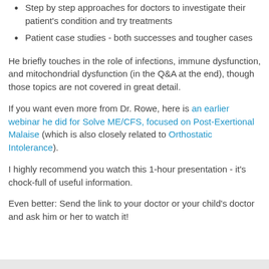Step by step approaches for doctors to investigate their patient's condition and try treatments
Patient case studies - both successes and tougher cases
He briefly touches in the role of infections, immune dysfunction, and mitochondrial dysfunction (in the Q&A at the end), though those topics are not covered in great detail.
If you want even more from Dr. Rowe, here is an earlier webinar he did for Solve ME/CFS, focused on Post-Exertional Malaise (which is also closely related to Orthostatic Intolerance).
I highly recommend you watch this 1-hour presentation - it's chock-full of useful information.
Even better: Send the link to your doctor or your child's doctor and ask him or her to watch it!